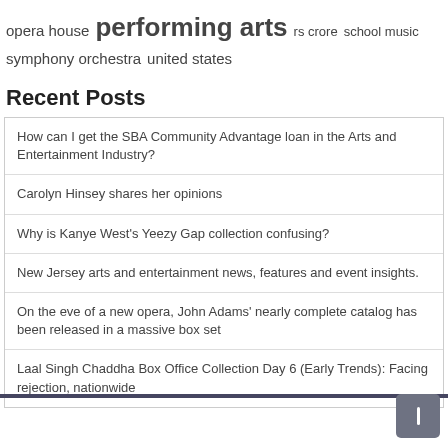opera house  performing arts  rs crore  school music  symphony orchestra  united states
Recent Posts
How can I get the SBA Community Advantage loan in the Arts and Entertainment Industry?
Carolyn Hinsey shares her opinions
Why is Kanye West's Yeezy Gap collection confusing?
New Jersey arts and entertainment news, features and event insights.
On the eve of a new opera, John Adams' nearly complete catalog has been released in a massive box set
Laal Singh Chaddha Box Office Collection Day 6 (Early Trends): Facing rejection, nationwide